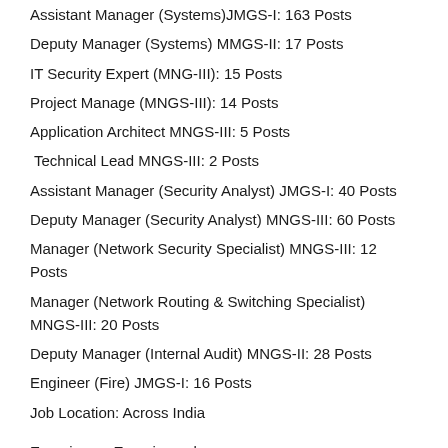Assistant Manager (Systems)JMGS-I: 163 Posts
Deputy Manager (Systems) MMGS-II: 17 Posts
IT Security Expert (MNG-III): 15 Posts
Project Manage (MNGS-III): 14 Posts
Application Architect MNGS-III: 5 Posts
Technical Lead MNGS-III: 2 Posts
Assistant Manager (Security Analyst) JMGS-I: 40 Posts
Deputy Manager (Security Analyst) MNGS-III: 60 Posts
Manager (Network Security Specialist) MNGS-III: 12 Posts
Manager (Network Routing & Switching Specialist) MNGS-III: 20 Posts
Deputy Manager (Internal Audit) MNGS-II: 28 Posts
Engineer (Fire) JMGS-I: 16 Posts
Job Location: Across India
Experience: Experienced
Salary: Rs. 23,700 – 51,490/- PM